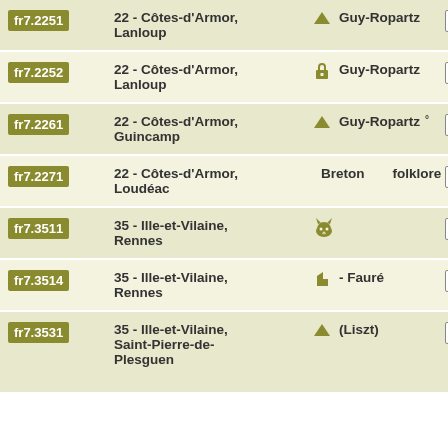| ID | Region | Category | Action |
| --- | --- | --- | --- |
| fr7.2251 | 22 - Côtes-d'Armor, Lanloup | 🏠 Guy-Ropartz | DETAILS |
| fr7.2252 | 22 - Côtes-d'Armor, Lanloup | 🔒 Guy-Ropartz | DETAILS |
| fr7.2261 | 22 - Côtes-d'Armor, Guincamp | 🏠 Guy-Ropartz° | DETAILS |
| fr7.2271 | 22 - Côtes-d'Armor, Loudéac | 📋 Breton folklore | DETAILS |
| fr7.3511 | 35 - Ille-et-Vilaine, Rennes | (icon) | DETAILS |
| fr7.3514 | 35 - Ille-et-Vilaine, Rennes | ↖ - Fauré | DETAILS |
| fr7.3531 | 35 - Ille-et-Vilaine, Saint-Pierre-de-Plesguen | 🏠 (Liszt) | DETAILS |